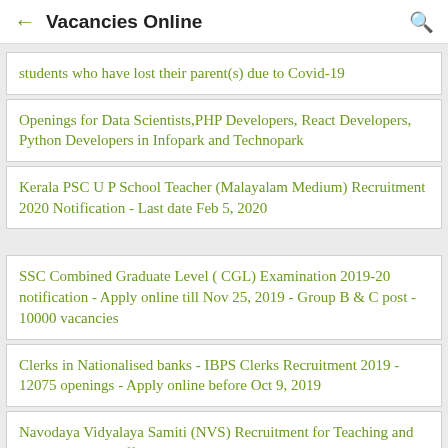Vacancies Online
students who have lost their parent(s) due to Covid-19
Openings for Data Scientists,PHP Developers, React Developers, Python Developers in Infopark and Technopark
Kerala PSC U P School Teacher (Malayalam Medium) Recruitment 2020 Notification - Last date Feb 5, 2020
SSC Combined Graduate Level ( CGL) Examination 2019-20 notification - Apply online till Nov 25, 2019 - Group B & C post - 10000 vacancies
Clerks in Nationalised banks - IBPS Clerks Recruitment 2019 - 12075 openings - Apply online before Oct 9, 2019
Navodaya Vidyalaya Samiti (NVS) Recruitment for Teaching and Non-Teaching staffs 2019 - 2370 Posts - Apply online : Last date Aug 9, 2019